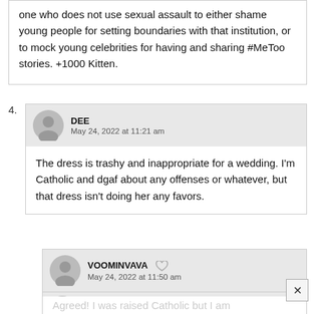one who does not use sexual assault to either shame young people for setting boundaries with that institution, or to mock young celebrities for having and sharing #MeToo stories. +1000 Kitten.
4. DEE — May 24, 2022 at 11:21 am — The dress is trashy and inappropriate for a wedding. I'm Catholic and dgaf about any offenses or whatever, but that dress isn't doing her any favors.
VOOMINVAVA — May 24, 2022 at 11:50 am — Exactly! It looks like the undergarment and she forgot her dress LOL
BECKS — May 24, 2022 at 11:53 am — Agreed! I was raised Catholic but I am...